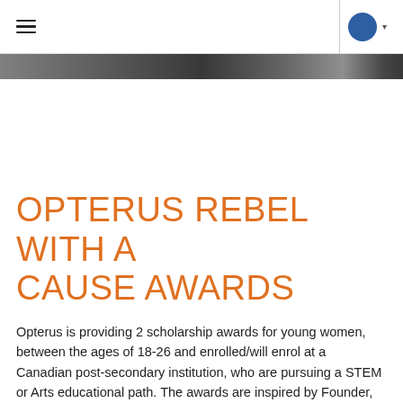[Figure (photo): A dark monochrome photo strip showing people, used as a decorative banner image at the top of the article.]
OPTERUS REBEL WITH A CAUSE AWARDS
Opterus is providing 2 scholarship awards for young women, between the ages of 18-26 and enrolled/will enrol at a Canadian post-secondary institution, who are pursuing a STEM or Arts educational path. The awards are inspired by Founder, Janet Hawkins' mother, Dr. Helen McKilligin, and sister, Valerie Ann Hawkins.